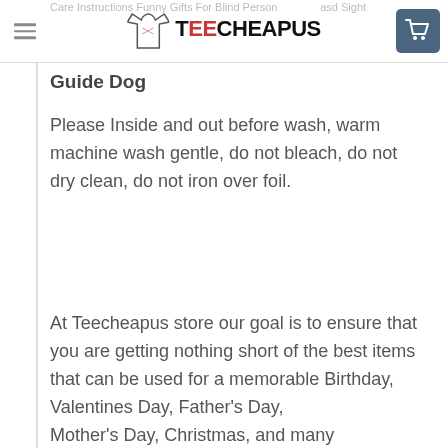Care Instructions Funny Gifts For Blind Person Teecheapus asd Sight Guide Dog
Guide Dog
Please Inside and out before wash, warm machine wash gentle, do not bleach, do not dry clean, do not iron over foil.
At Teecheapus store our goal is to ensure that you are getting nothing short of the best items that can be used for a memorable Birthday, Valentines Day, Father's Day, Mother's Day, Christmas, and many